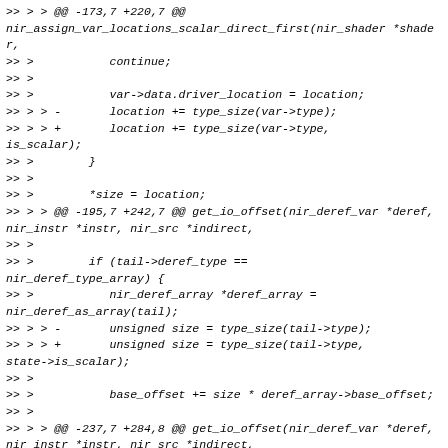>> > > @@ -173,7 +220,7 @@
nir_assign_var_locations_scalar_direct_first(nir_shader *shader,
>> >           continue;
>> >
>> >           var->data.driver_location = location;
>> > > -       location += type_size(var->type);
>> > > +       location += type_size(var->type,
is_scalar);
>> >        }
>> >
>> >        *size = location;
>> > > @@ -195,7 +242,7 @@ get_io_offset(nir_deref_var *deref, nir_instr *instr, nir_src *indirect,
>> >
>> >        if (tail->deref_type ==
nir_deref_type_array) {
>> >           nir_deref_array *deref_array =
nir_deref_as_array(tail);
>> > > -       unsigned size = type_size(tail->type);
>> > > +       unsigned size = type_size(tail->type,
state->is_scalar);
>> >
>> >           base_offset += size * deref_array->base_offset;
>> >
>> > > @@ -237,7 +284,8 @@ get_io_offset(nir_deref_var *deref, nir_instr *instr, nir_src *indirect,
>> >           nir_deref_struct *deref_struct =
nir_deref_as_struct(tail);